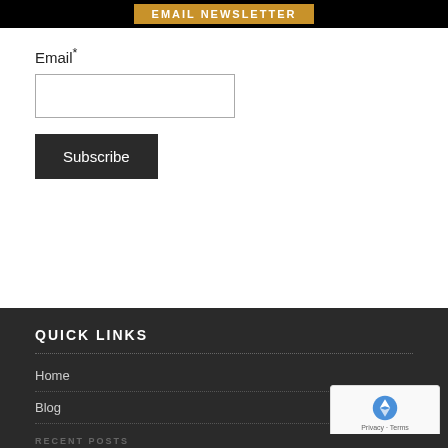EMAIL NEWSLETTER
Email*
Subscribe
QUICK LINKS
Home
Blog
Privacy Policy
Contact us
Sitemap